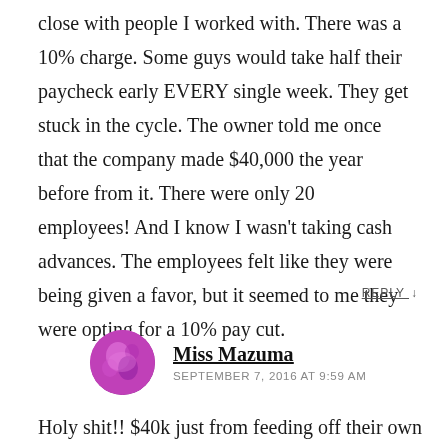close with people I worked with. There was a 10% charge. Some guys would take half their paycheck early EVERY single week. They get stuck in the cycle. The owner told me once that the company made $40,000 the year before from it. There were only 20 employees! And I know I wasn't taking cash advances. The employees felt like they were being given a favor, but it seemed to me they were opting for a 10% pay cut.
REPLY ↓
Miss Mazuma
SEPTEMBER 7, 2016 AT 9:59 AM
Holy shit!! $40k just from feeding off their own